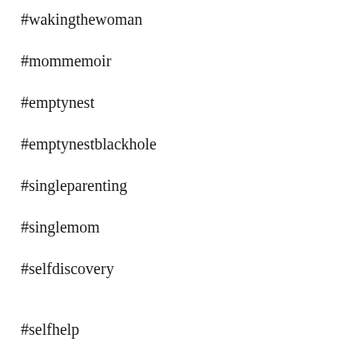#wakingthewoman
#mommemoir
#emptynest
#emptynestblackhole
#singleparenting
#singlemom
#selfdiscovery
#selfhelp